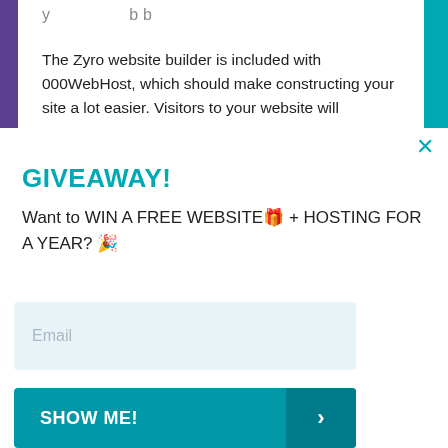The Zyro website builder is included with 000WebHost, which should make constructing your site a lot easier. Visitors to your website will
GIVEAWAY!
Want to WIN A FREE WEBSITE🎁 + HOSTING FOR A YEAR? 🎉
[Figure (screenshot): Email input field with light blue background and placeholder text 'Email']
[Figure (screenshot): Teal 'SHOW ME!' button with a darker teal right section containing a right-pointing chevron arrow]